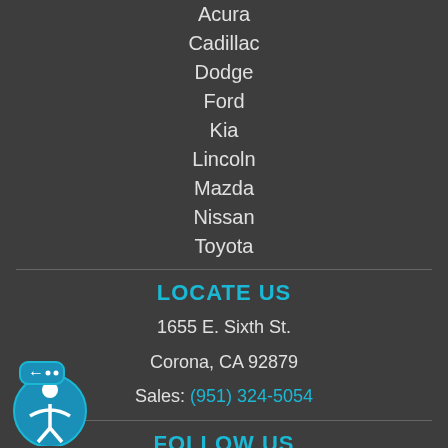Acura
Cadillac
Dodge
Ford
Kia
Lincoln
Mazda
Nissan
Toyota
LOCATE US
1655 E. Sixth St.
Corona, CA 92879
Sales: (951) 324-5054
FOLLOW US
[Figure (logo): Facebook icon (teal)]
[Figure (logo): Twitter bird icon (teal)]
[Figure (logo): Accessibility widget icon with arrow and person symbol]